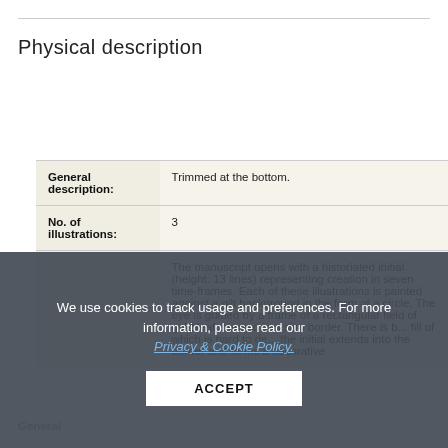Physical description
|  |  |
| --- | --- |
| General description: | Trimmed at the bottom. |
| No. of illustrations: | 3 |
|  | The manuscript opens with a historiated initial (height: 13 lines) representing creation in seven time-frames. Each of these illustrations is painted against a gilt background in the form of a circle. The eye is guided by a frame of a rectangular field of gold leaf, housed in a slim border. There is b... fill of which is hard to de... the initial extends into the border and forms a decorative ... |
We use cookies to track usage and preferences. For more information, please read our Privacy & Cookie Policy.
ACCEPT